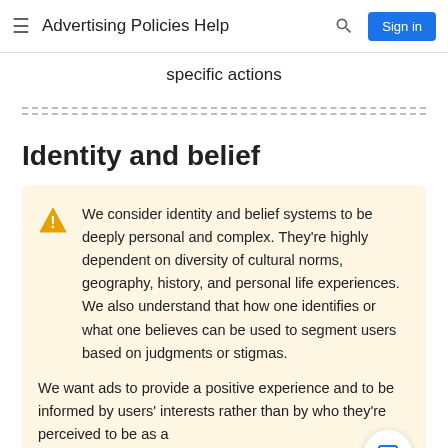Advertising Policies Help
specific actions
Identity and belief
We consider identity and belief systems to be deeply personal and complex. They're highly dependent on diversity of cultural norms, geography, history, and personal life experiences. We also understand that how one identifies or what one believes can be used to segment users based on judgments or stigmas.
We want ads to provide a positive experience and to be informed by users' interests rather than by who they're perceived to be as a